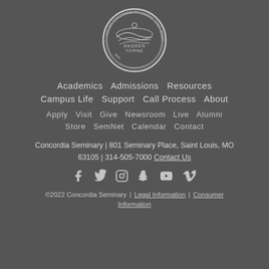[Figure (logo): Concordia Seminary circular seal with text 'COLLEG CONCORDIAE ST. LUDOVIC. CNVT. MISSOURI' and Greek 'ANΩΘEN TOΦNE' with a landscape image]
Academics   Admissions   Resources
Campus Life   Support   Call Process   About
Apply   Visit   Give   Newsroom   Live   Alumni
Store   SemNet   Calendar   Contact
Concordia Seminary | 801 Seminary Place, Saint Louis, MO 63105 | 314-505-7000 Contact Us
[Figure (other): Social media icons: Facebook, Twitter, Instagram, Snapchat, YouTube, Vimeo]
©2022 Concordia Seminary | Legal Information | Consumer Information